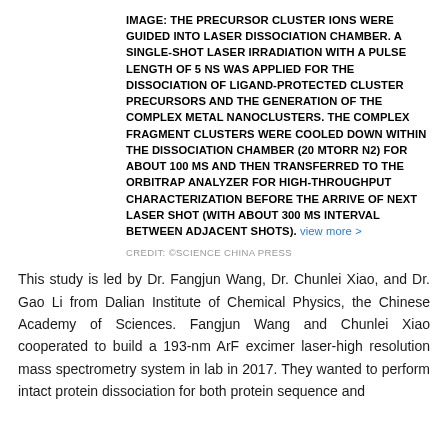IMAGE: THE PRECURSOR CLUSTER IONS WERE GUIDED INTO LASER DISSOCIATION CHAMBER. A SINGLE-SHOT LASER IRRADIATION WITH A PULSE LENGTH OF 5 NS WAS APPLIED FOR THE DISSOCIATION OF LIGAND-PROTECTED CLUSTER PRECURSORS AND THE GENERATION OF THE COMPLEX METAL NANOCLUSTERS. THE COMPLEX FRAGMENT CLUSTERS WERE COOLED DOWN WITHIN THE DISSOCIATION CHAMBER (20 MTORR N2) FOR ABOUT 100 MS AND THEN TRANSFERRED TO THE ORBITRAP ANALYZER FOR HIGH-THROUGHPUT CHARACTERIZATION BEFORE THE ARRIVE OF NEXT LASER SHOT (WITH ABOUT 300 MS INTERVAL BETWEEN ADJACENT SHOTS). view more >
CREDIT: ©SCIENCE CHINA PRESS
This study is led by Dr. Fangjun Wang, Dr. Chunlei Xiao, and Dr. Gao Li from Dalian Institute of Chemical Physics, the Chinese Academy of Sciences. Fangjun Wang and Chunlei Xiao cooperated to build a 193-nm ArF excimer laser-high resolution mass spectrometry system in lab in 2017. They wanted to perform intact protein dissociation for both protein sequence and